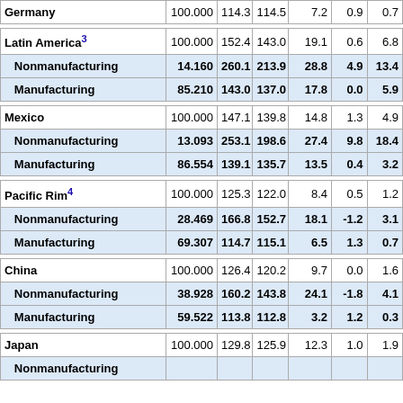|  |  |  |  |  |  |  |
| --- | --- | --- | --- | --- | --- | --- |
| Germany | 100.000 | 114.3 | 114.5 | 7.2 | 0.9 | 0.7 |
| Latin America(3) | 100.000 | 152.4 | 143.0 | 19.1 | 0.6 | 6.8 |
|   Nonmanufacturing | 14.160 | 260.1 | 213.9 | 28.8 | 4.9 | 13.4 |
|   Manufacturing | 85.210 | 143.0 | 137.0 | 17.8 | 0.0 | 5.9 |
| Mexico | 100.000 | 147.1 | 139.8 | 14.8 | 1.3 | 4.9 |
|   Nonmanufacturing | 13.093 | 253.1 | 198.6 | 27.4 | 9.8 | 18.4 |
|   Manufacturing | 86.554 | 139.1 | 135.7 | 13.5 | 0.4 | 3.2 |
| Pacific Rim(4) | 100.000 | 125.3 | 122.0 | 8.4 | 0.5 | 1.2 |
|   Nonmanufacturing | 28.469 | 166.8 | 152.7 | 18.1 | -1.2 | 3.1 |
|   Manufacturing | 69.307 | 114.7 | 115.1 | 6.5 | 1.3 | 0.7 |
| China | 100.000 | 126.4 | 120.2 | 9.7 | 0.0 | 1.6 |
|   Nonmanufacturing | 38.928 | 160.2 | 143.8 | 24.1 | -1.8 | 4.1 |
|   Manufacturing | 59.522 | 113.8 | 112.8 | 3.2 | 1.2 | 0.3 |
| Japan | 100.000 | 129.8 | 125.9 | 12.3 | 1.0 | 1.9 |
|   Nonmanufacturing | ... | ... | ... | ... | ... | ... |